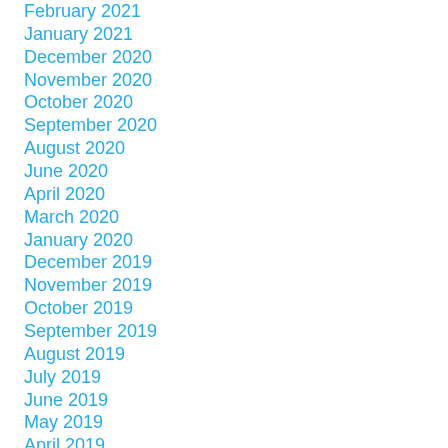February 2021
January 2021
December 2020
November 2020
October 2020
September 2020
August 2020
June 2020
April 2020
March 2020
January 2020
December 2019
November 2019
October 2019
September 2019
August 2019
July 2019
June 2019
May 2019
April 2019
March 2019
February 2019